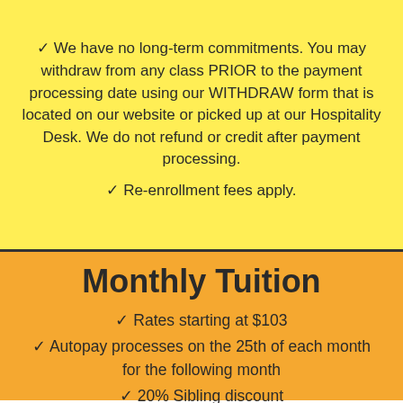✓ We have no long-term commitments. You may withdraw from any class PRIOR to the payment processing date using our WITHDRAW form that is located on our website or picked up at our Hospitality Desk. We do not refund or credit after payment processing.
✓ Re-enrollment fees apply.
Monthly Tuition
✓ Rates starting at $103
✓ Autopay processes on the 25th of each month for the following month
✓ 20% Sibling discount